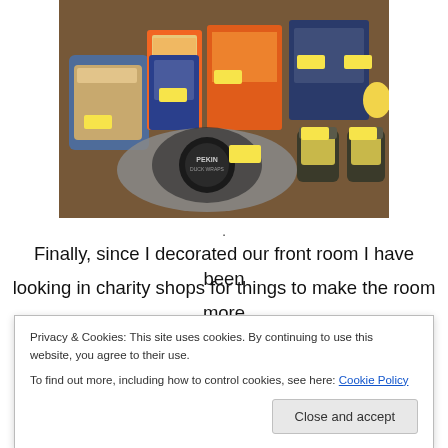[Figure (photo): Photo of groceries on a wooden table: bread loaves, boxes of pasta and other food items with yellow clearance stickers, a packet of Pekin duck wraps, and jars of sauce/condiments.]
.
Finally, since I decorated our front room I have been looking in charity shops for things to make the room more
Privacy & Cookies: This site uses cookies. By continuing to use this website, you agree to their use.
To find out more, including how to control cookies, see here: Cookie Policy
Close and accept